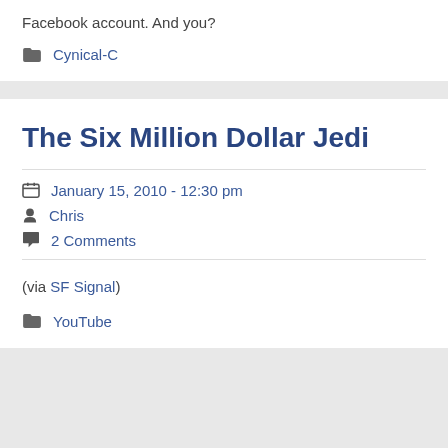Facebook account. And you?
Cynical-C
The Six Million Dollar Jedi
January 15, 2010 - 12:30 pm
Chris
2 Comments
(via SF Signal)
YouTube